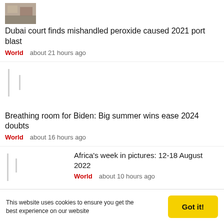[Figure (photo): Thumbnail image of port/cargo area for Dubai port blast article]
Dubai court finds mishandled peroxide caused 2021 port blast
World   about 21 hours ago
[Figure (photo): Blurred/loading placeholder thumbnail with vertical bar]
Breathing room for Biden: Big summer wins ease 2024 doubts
World   about 16 hours ago
Africa's week in pictures: 12-18 August 2022
World   about 10 hours ago
[Figure (photo): Blurred/loading placeholder thumbnail with vertical bar]
This website uses cookies to ensure you get the best experience on our website